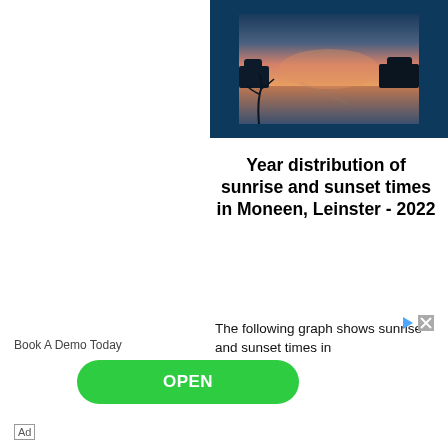[Figure (photo): Sunset or sunrise over a calm water body with silhouetted trees on the horizon, warm orange and pink sky, reflected in still water. Photo displayed within a dark navy blue framed container.]
Year distribution of sunrise and sunset times in Moneen, Leinster - 2022
The following graph shows sunrise and sunset times in
Book A Demo Today
OPEN
Ad